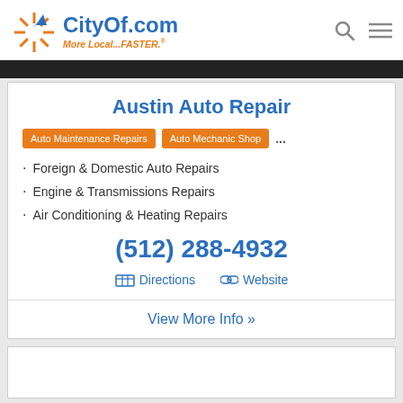[Figure (logo): CityOf.com logo with orange starburst icon and blue text reading CityOf.com, orange italic tagline More Local...FASTER with registered trademark symbol]
Austin Auto Repair
Auto Maintenance Repairs | Auto Mechanic Shop ...
Foreign & Domestic Auto Repairs
Engine & Transmissions Repairs
Air Conditioning & Heating Repairs
(512) 288-4932
Directions | Website
View More Info »